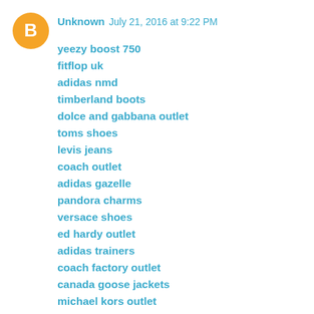[Figure (illustration): Blogger avatar icon: orange circle with white 'B' letter in center]
Unknown  July 21, 2016 at 9:22 PM
yeezy boost 750
fitflop uk
adidas nmd
timberland boots
dolce and gabbana outlet
toms shoes
levis jeans
coach outlet
adidas gazelle
pandora charms
versace shoes
ed hardy outlet
adidas trainers
coach factory outlet
canada goose jackets
michael kors outlet
reebok pump
true religion outlet
louis vuitton handbags